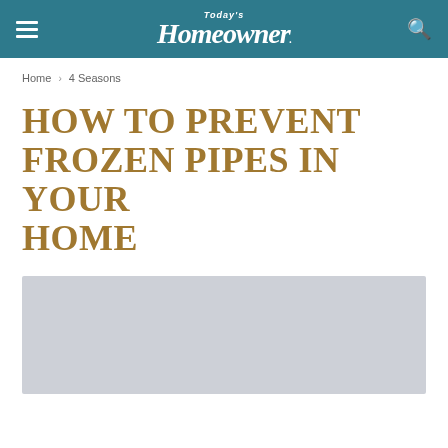Today's Homeowner
Home › 4 Seasons
HOW TO PREVENT FROZEN PIPES IN YOUR HOME
[Figure (photo): Gray placeholder image area at bottom of page]